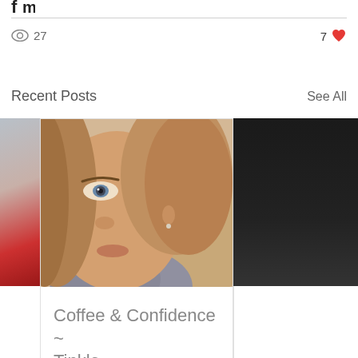[Figure (infographic): Top partial icons (camera/chart) cropped at top]
27
7
Recent Posts
See All
[Figure (photo): Left partial card image showing partial red clothing on gray background]
[Figure (photo): Center card: close-up selfie photo of a woman with blonde hair and blue eyes, wearing gray, against beige background]
Coffee & Confidence ~ Tinkle
31
2
[Figure (photo): Right partial card showing dark/black background]